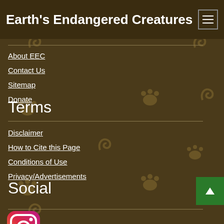Earth's Endangered Creatures
About EEC
Contact Us
Sitemap
Donate
Terms
Disclaimer
How to Cite this Page
Conditions of Use
Privacy/Advertisements
Social
[Figure (logo): Instagram logo icon with gradient border]